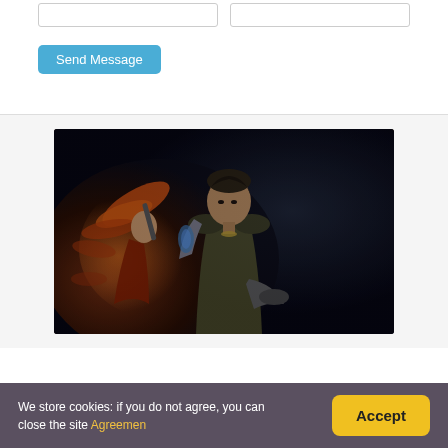[Figure (other): Two input boxes side by side (form fields)]
Send Message
[Figure (illustration): Fantasy/sci-fi game artwork showing two characters: a woman with red/orange flowing hair holding a weapon, and a man in a leather jacket with a cybernetic arm, both in a dark dramatic setting]
We store cookies: if you do not agree, you can close the site Agreement
Accept